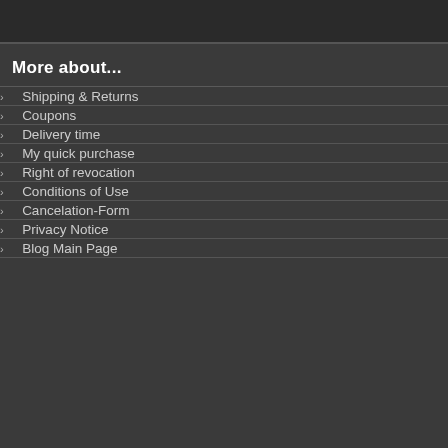More about...
Shipping & Returns
Coupons
Delivery time
My quick purchase
Right of revocation
Conditions of Use
Cancelation-Form
Privacy Notice
Blog Main Page